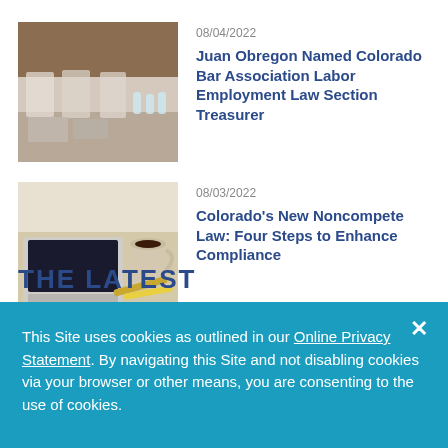[Figure (photo): Conference room with chairs, notebooks, and a blurred background of a wooden wall and water bottles on a table.]
08/04/2022
Juan Obregon Named Colorado Bar Association Labor Employment Law Section Treasurer
[Figure (photo): Laptop, coffee cup, and pencils on a wooden desk surface.]
08/03/2022
Colorado's New Noncompete Law: Four Steps to Enhance Compliance
THE LATEST
This Site uses cookies as outlined in our Online Privacy Statement. By navigating this Site and not disabling cookies via your browser or other means, you are consenting to the use of cookies.